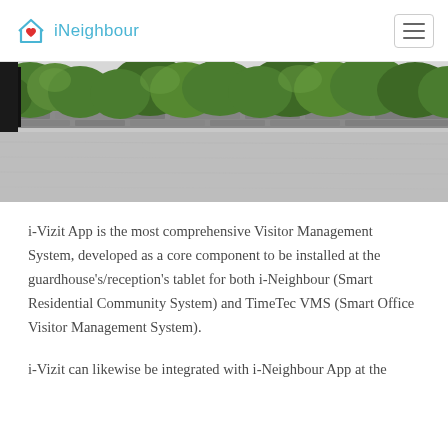iNeighbour
[Figure (photo): Outdoor scene showing green trees/hedges above a stone retaining wall, with a paved road/driveway in the foreground. Partial view of a black gate on the left edge.]
i-Vizit App is the most comprehensive Visitor Management System, developed as a core component to be installed at the guardhouse’s/reception’s tablet for both i-Neighbour (Smart Residential Community System) and TimeTec VMS (Smart Office Visitor Management System).
i-Vizit can likewise be integrated with i-Neighbour App at the